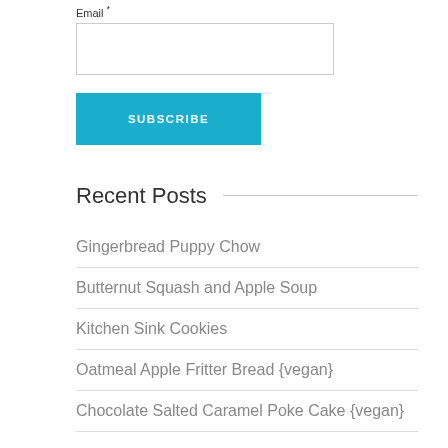Email *
[email input field]
SUBSCRIBE
Recent Posts
Gingerbread Puppy Chow
Butternut Squash and Apple Soup
Kitchen Sink Cookies
Oatmeal Apple Fritter Bread {vegan}
Chocolate Salted Caramel Poke Cake {vegan}